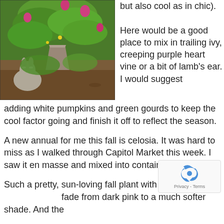[Figure (photo): A garden scene showing a stone rabbit figurine beside a planter with green leaves and pink flowers, set in soil/mulch.]
but also cool as in chic).

Here would be a good place to mix in trailing ivy, creeping purple heart vine or a bit of lamb's ear. I would suggest adding white pumpkins and green gourds to keep the cool factor going and finish it off to reflect the season.
A new annual for me this fall is celosia. It was hard to miss as I walked through Capitol Market this week. I saw it en masse and mixed into containers.
Such a pretty, sun-loving fall plant with long bloom fade from dark pink to a much softer shade. And the